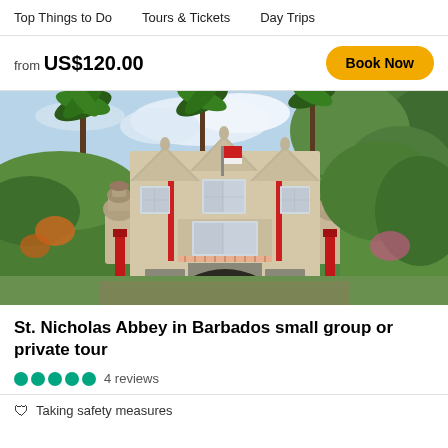Top Things to Do   Tours & Tickets   Day Trips
from US$120.00
Book Now
[Figure (photo): Exterior photo of St. Nicholas Abbey in Barbados, a historic plantation house with Jacobean architecture, surrounded by lush tropical greenery and palm trees, with a red-trimmed facade and ornamental gate posts.]
St. Nicholas Abbey in Barbados small group or private tour
4 reviews
Taking safety measures